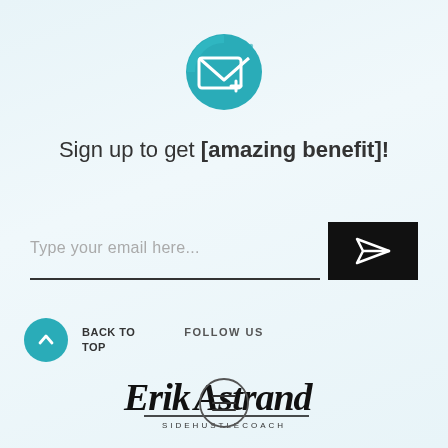[Figure (illustration): Teal circular icon with an envelope/email symbol and a plus sign]
Sign up to get [amazing benefit]!
[Figure (illustration): Email input field with placeholder 'Type your email here...' and a dark submit button with a send/arrow icon]
[Figure (illustration): Back to top teal circle button with upward arrow and 'BACK TO TOP' text label, plus 'FOLLOW US' text]
[Figure (logo): Erik Astrand SIDEHUSTLECOACH script logo signature]
[Figure (illustration): Hamburger menu circle icon with three horizontal lines]